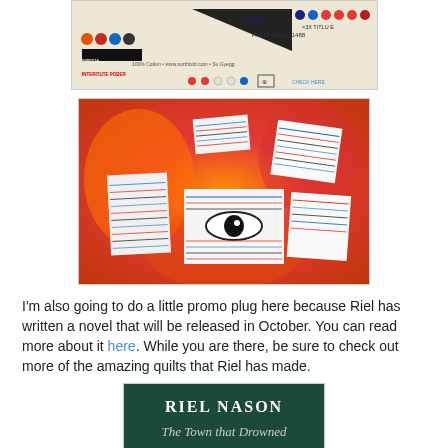[Figure (photo): Close-up photo of fabric selvage/label showing text, barcodes, colored dots, and brand information from Northcott fabric]
[Figure (photo): Photo of multiple fabric selvage labels arranged on a bright orange/red tie-dye fabric background, with a black and white eye design visible among the labels]
I'm also going to do a little promo plug here because Riel has written a novel that will be released in October. You can read more about it here. While you are there, be sure to check out more of the amazing quilts that Riel has made.
[Figure (photo): Book cover showing 'RIEL NASON' in large white text on a dark green/teal background, with cursive text below]